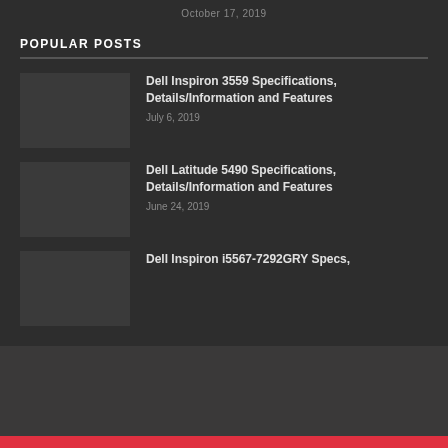October 17, 2019
POPULAR POSTS
Dell Inspiron 3559 Specifications, Details/Information and Features
July 6, 2019
Dell Latitude 5490 Specifications, Details/Information and Features
June 24, 2019
Dell Inspiron i5567-7292GRY Specs,